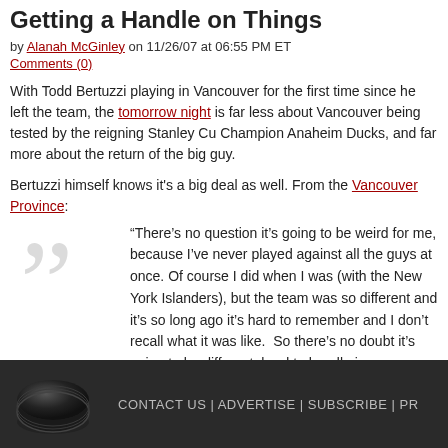Getting a Handle on Things
by Alanah McGinley on 11/26/07 at 06:55 PM ET
Comments (0)
With Todd Bertuzzi playing in Vancouver for the first time since he left the team, the tomorrow night is far less about Vancouver being tested by the reigning Stanley Cup Champion Anaheim Ducks, and far more about the return of the big guy.
Bertuzzi himself knows it's a big deal as well. From the Vancouver Province:
“There’s no question it’s going to be weird for me, because I’ve never played against all the guys at once. Of course I did when I was (with the New York Islanders), but the team was so different and it’s so long ago it’s hard to remember and I don’t recall what it was like.  So there’s no doubt it’s going to be different, hard to handle in some ways.”
Continue Reading »
Filed in: nhl general, playoff hockey. | Canucks and Beyond | Permalink
Tags: alex+burrows, anaheim+ducks, minnesota+wild, todd+bertuzzi, vancouver+ca
CONTACT US | ADVERTISE | SUBSCRIBE | PR